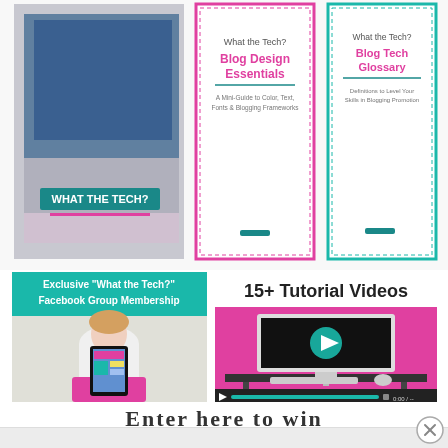[Figure (illustration): Three book covers for 'What the Tech?' series: a laptop photo with 'What the Tech?' text, 'Blog Design Essentials' with pink/teal border, and 'Blog Tech Glossary' with teal border — arranged in a row at the top of the page.]
[Figure (illustration): Exclusive 'What the Tech?' Facebook Group Membership image: teal/green header text on pink background, woman in white top and pink skirt holding a tablet showing colorful content.]
[Figure (illustration): 15+ Tutorial Videos image: title text on white background, pink-walled room with a desktop computer monitor showing a video player with teal play button, keyboard and mouse on the desk. Video player controls shown at bottom.]
Enter here to win
[Figure (illustration): Close (X) button circle in bottom-right corner of page.]